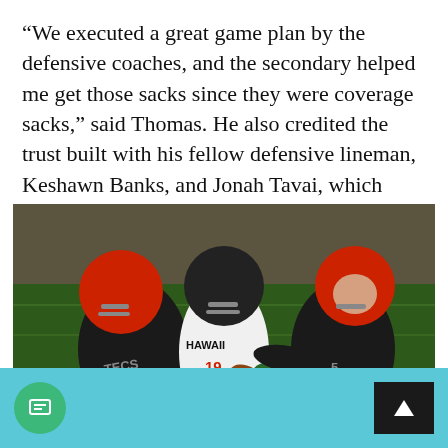“We executed a great game plan by the defensive coaches, and the secondary helped me get those sacks since they were coverage sacks,” said Thomas. He also credited the trust built with his fellow defensive lineman, Keshawn Banks, and Jonah Tavai, which helped them succeed.
[Figure (photo): Football game action photo showing San Diego State Aztecs players in black and red uniforms tackling a Hawaii Warriors player wearing number 19 in a white uniform, who is holding a football.]